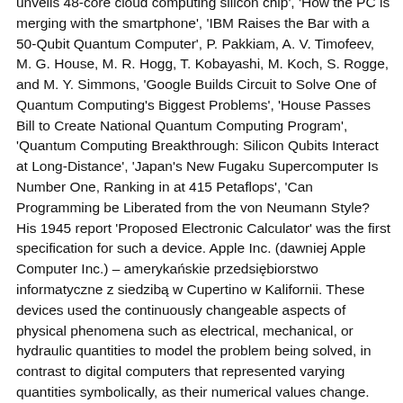unveils 48-core cloud computing silicon chip', 'How the PC is merging with the smartphone', 'IBM Raises the Bar with a 50-Qubit Quantum Computer', P. Pakkiam, A. V. Timofeev, M. G. House, M. R. Hogg, T. Kobayashi, M. Koch, S. Rogge, and M. Y. Simmons, 'Google Builds Circuit to Solve One of Quantum Computing's Biggest Problems', 'House Passes Bill to Create National Quantum Computing Program', 'Quantum Computing Breakthrough: Silicon Qubits Interact at Long-Distance', 'Japan's New Fugaku Supercomputer Is Number One, Ranking in at 415 Petaflops', 'Can Programming be Liberated from the von Neumann Style? His 1945 report 'Proposed Electronic Calculator' was the first specification for such a device. Apple Inc. (dawniej Apple Computer Inc.) – amerykańskie przedsiębiorstwo informatyczne z siedzibą w Cupertino w Kalifornii. These devices used the continuously changeable aspects of physical phenomena such as electrical, mechanical, or hydraulic quantities to model the problem being solved, in contrast to digital computers that represented varying quantities symbolically, as their numerical values change. The idea